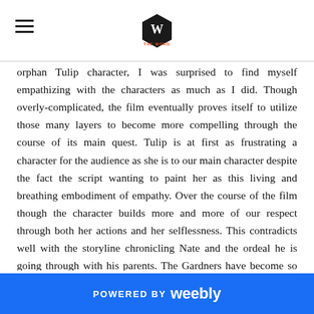THE WORD
orphan Tulip character, I was surprised to find myself empathizing with the characters as much as I did. Though overly-complicated, the film eventually proves itself to utilize those many layers to become more compelling through the course of its main quest. Tulip is at first as frustrating a character for the audience as she is to our main character despite the fact the script wanting to paint her as this living and breathing embodiment of empathy. Over the course of the film though the character builds more and more of our respect through both her actions and her selflessness. This contradicts well with the storyline chronicling Nate and the ordeal he is going through with his parents. The Gardners have become so engulfed in their jobs they are essentially the worst parents in the world. Completely ignoring Nate and making decisions based wholly on their own self-interests rather than that of their son's the film is able to give parents this ever necessary reminder that time is our most precious commodity and that it's the only thing we can't get more of. It only hurts their case
POWERED BY weebly